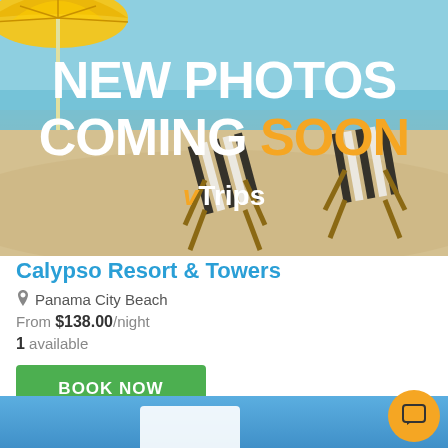[Figure (photo): Beach scene with striped lounge chairs and yellow beach umbrella, overlaid with 'NEW PHOTOS COMING SOON' text and vTrips logo]
Calypso Resort & Towers
Panama City Beach
From $138.00/night
1 available
BOOK NOW